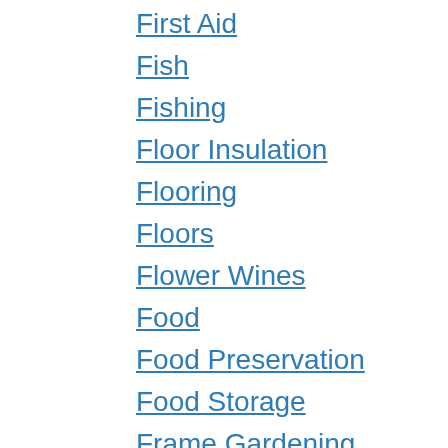First Aid
Fish
Fishing
Floor Insulation
Flooring
Floors
Flower Wines
Food
Food Preservation
Food Storage
Frame Gardening
Frames
Fruit Growing